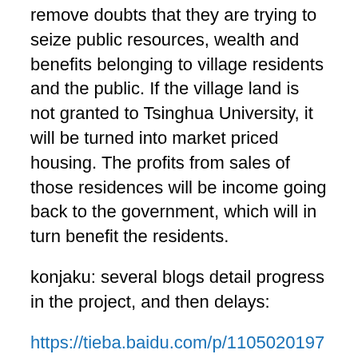remove doubts that they are trying to seize public resources, wealth and benefits belonging to village residents and the public. If the village land is not granted to Tsinghua University, it will be turned into market priced housing. The profits from sales of those residences will be income going back to the government, which will in turn benefit the residents.
konjaku: several blogs detail progress in the project, and then delays:
https://tieba.baidu.com/p/1105020197
2011-05-06 the Xiaojiahe region began the process of demolition and relocation. [Summary: the Malianwa neighborhood, according to instructions, convened assemblies of residents and party members to hear details of the plan and give opinions. Party members committed